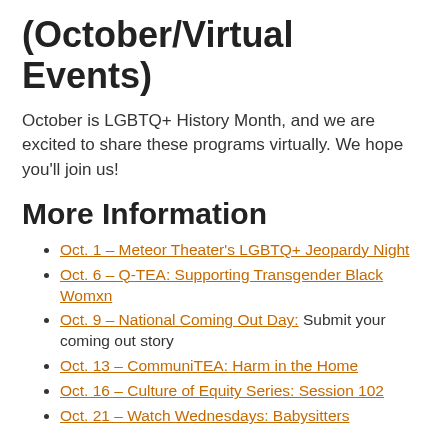(October/Virtual Events)
October is LGBTQ+ History Month, and we are excited to share these programs virtually. We hope you'll join us!
More Information
Oct. 1 – Meteor Theater's LGBTQ+ Jeopardy Night
Oct. 6 – Q-TEA: Supporting Transgender Black Womxn
Oct. 9 – National Coming Out Day: Submit your coming out story
Oct. 13 – CommuniTEA: Harm in the Home
Oct. 16 – Culture of Equity Series: Session 102
Oct. 21 – Watch Wednesdays: Babysitters